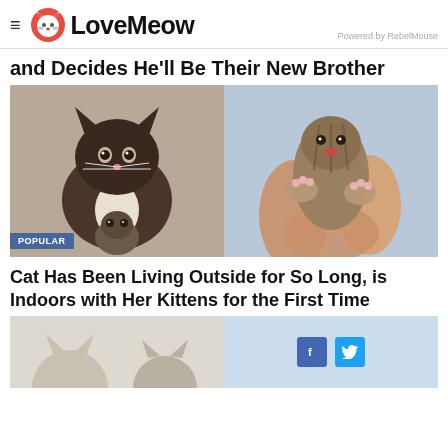LoveMeow — Powered by RebelMouse
and Decides He'll Be Their New Brother
[Figure (photo): Two-panel photo: left side shows a brown/dark Burmese cat sitting with a tiny tabby kitten beneath it; right side shows a pair of hands gently holding a small tabby kitten with paws stretched out. A 'POPULAR' badge appears on the lower left of the image.]
Cat Has Been Living Outside for So Long, is Indoors with Her Kittens for the First Time
[Figure (photo): Bottom cropped image showing two light-colored cats, partially visible, with social media share buttons (Facebook and Twitter) overlaid in the center.]